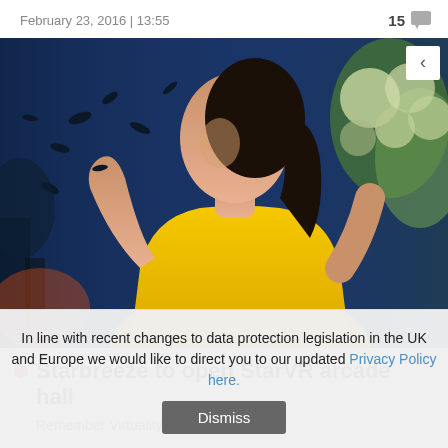February 23, 2016 | 13:55   15
[Figure (photo): Woman in yellow t-shirt looking upward against a dark blue background with scattered dark shapes, and flowers on the right side. Navigation arrow overlay in top-right corner.]
Starbreeze to open StarVR arcade hall
Remember Virtuality? Starbreeze does.
In line with recent changes to data protection legislation in the UK and Europe we would like to direct you to our updated Privacy Policy here.